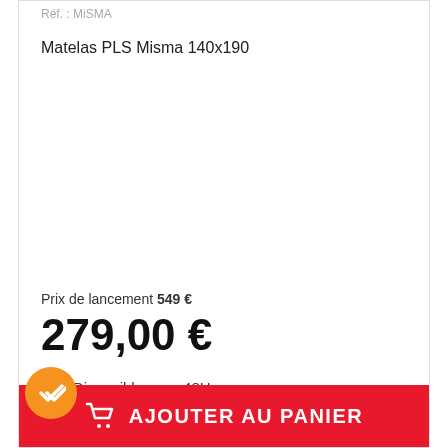Réf. : MiSMA
Matelas PLS Misma 140x190
Prix de lancement 549 €
279,00 €
Disponible sous 48H
AJOUTER AU PANIER